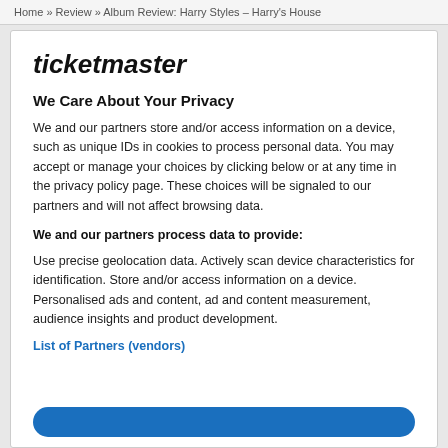Home » Review » Album Review: Harry Styles – Harry's House
ticketmaster
We Care About Your Privacy
We and our partners store and/or access information on a device, such as unique IDs in cookies to process personal data. You may accept or manage your choices by clicking below or at any time in the privacy policy page. These choices will be signaled to our partners and will not affect browsing data.
We and our partners process data to provide:
Use precise geolocation data. Actively scan device characteristics for identification. Store and/or access information on a device. Personalised ads and content, ad and content measurement, audience insights and product development.
List of Partners (vendors)